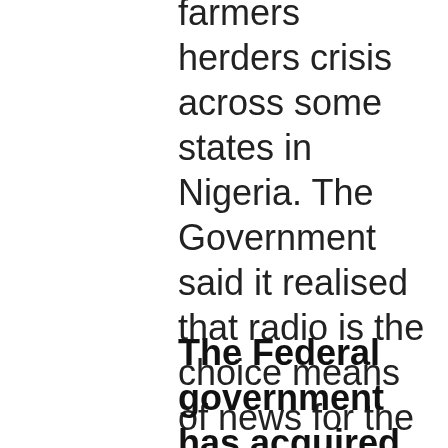farmers herders crisis across some states in Nigeria. The Government said it realised that radio is the choice means of news for the herdsmen,
The Federal government has acquired an Amplitude Modulation